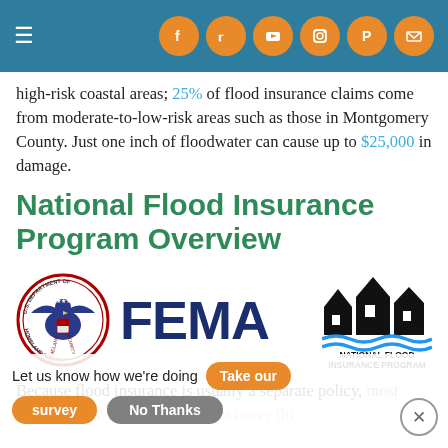Navigation header with hamburger menu and social icons (Facebook, Twitter, YouTube, Instagram, Pinterest, Email)
high-risk coastal areas; 25% of flood insurance claims come from moderate-to-low-risk areas such as those in Montgomery County. Just one inch of floodwater can cause up to $25,000 in damage.
National Flood Insurance Program Overview
[Figure (logo): DHS seal logo, FEMA wordmark in dark blue, and National Flood Insurance Program logo with house silhouettes and water waves]
Because flood insurance is usually a separate policy, most homeowners' insurance does not cover flood damage. A National Flood Insurance Program (NFIP) provides affordable flood coverage to property owners